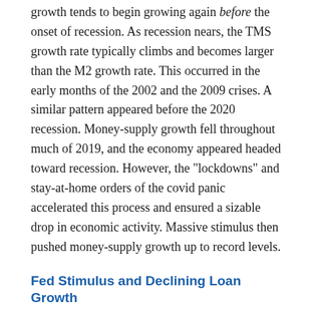growth tends to begin growing again before the onset of recession. As recession nears, the TMS growth rate typically climbs and becomes larger than the M2 growth rate. This occurred in the early months of the 2002 and the 2009 crises. A similar pattern appeared before the 2020 recession. Money-supply growth fell throughout much of 2019, and the economy appeared headed toward recession. However, the "lockdowns" and stay-at-home orders of the covid panic accelerated this process and ensured a sizable drop in economic activity. Massive stimulus then pushed money-supply growth up to record levels.
Fed Stimulus and Declining Loan Growth
Money supply growth was fueled in part by enormous amounts of deficit spending that occurred throughout 2020 and 2021. This led to the "need" for large amounts of monetization by the Federal Reserve. (This was needed to keep interest on the national debt low.) Indeed, as federal deficit spending grew throughout 2020. Fed monetization of government bonds also